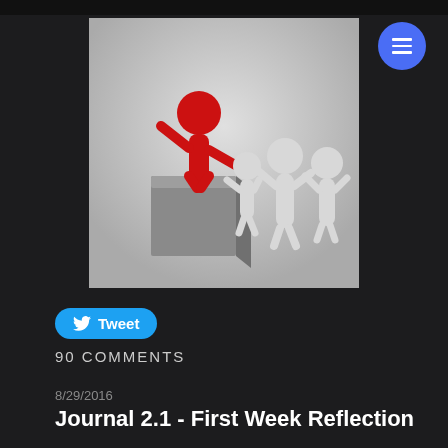[Figure (illustration): A red stick figure standing on a gray podium/box with one arm raised, facing three white stick figures who appear to be listening or responding. Gradient light gray background. Depicts a public speaking or presentation scene.]
Tweet
90 COMMENTS
8/29/2016
Journal 2.1 - First Week Reflection